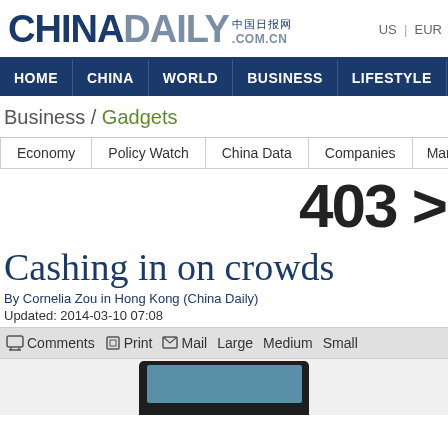CHINADAILY .COM.CN | US | EUR
HOME | CHINA | WORLD | BUSINESS | LIFESTYLE | CULTURE
Business / Gadgets
Economy | Policy Watch | China Data | Companies | Mark
403
Cashing in on crowds
By Cornelia Zou in Hong Kong (China Daily)
Updated: 2014-03-10 07:08
Comments  Print  Mail  Large  Medium  Small
[Figure (photo): Partial view of a tablet device at the bottom of the page]